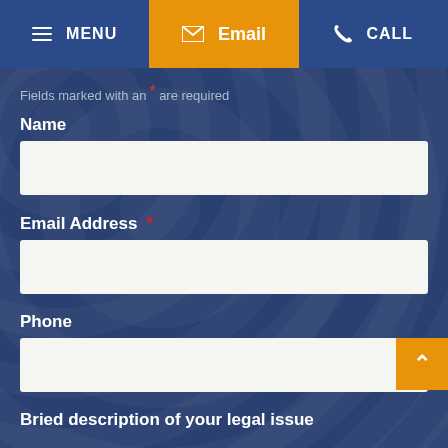MENU  Email  CALL
Fields marked with an * are required
Name
Email Address *
Phone
Bried description of your legal issue